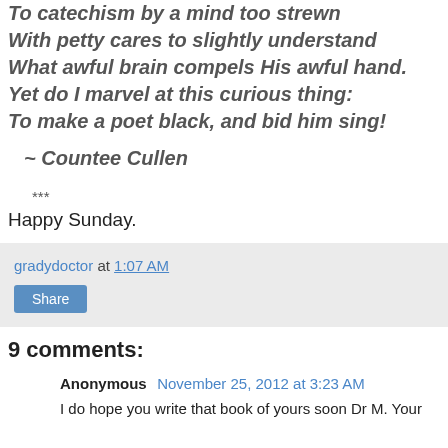To catechism by a mind too strewn
With petty cares to slightly understand
What awful brain compels His awful hand.
Yet do I marvel at this curious thing:
To make a poet black, and bid him sing!
~ Countee Cullen
***
Happy Sunday.
gradydoctor at 1:07 AM
Share
9 comments:
Anonymous  November 25, 2012 at 3:23 AM
I do hope you write that book of yours soon Dr M. Your